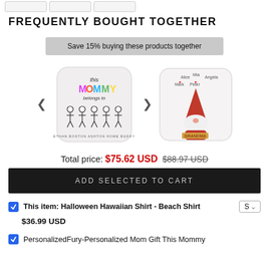FREQUENTLY BOUGHT TOGETHER
Save 15% buying these products together
[Figure (photo): Two decorative throw pillows: one reading 'This MOMMY belongs to' with stick figure children, another with a gnome character holding a 'GRANDMA' sign with names (Alice, Mia, Angela, Mark, Peter)]
Total price: $75.62 USD  $88.97 USD
ADD SELECTED TO CART
This item: Halloween Hawaiian Shirt - Beach Shirt  S ✓  $36.99 USD
PersonalizedFury-Personalized Mom Gift This Mommy